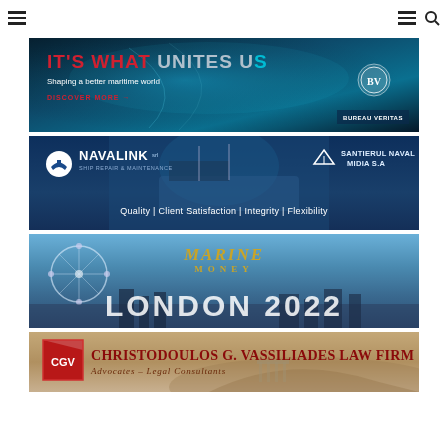Navigation header with hamburger menu icons and search icon
[Figure (illustration): Bureau Veritas banner ad: dark ocean background with text 'IT'S WHAT UNITES US', 'Shaping a better maritime world', 'DISCOVER MORE ->' and Bureau Veritas logo]
[Figure (illustration): Navalink SRL Ship Repair & Maintenance banner with Santierul Naval Midia S.A. logo. Text: 'Quality | Client Satisfaction | Integrity | Flexibility']
[Figure (illustration): Marine Money London 2022 event banner with London Eye and city skyline background]
[Figure (illustration): Christodoulos G. Vassiliades Law Firm banner - Advocates - Legal Consultants, with CGV logo and Athens/Acropolis background]